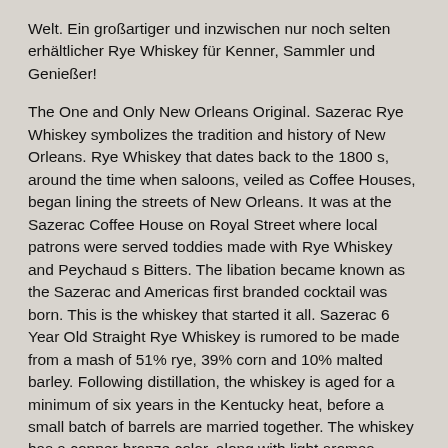Welt. Ein großartiger und inzwischen nur noch selten erhältlicher Rye Whiskey für Kenner, Sammler und Genießer!
The One and Only New Orleans Original. Sazerac Rye Whiskey symbolizes the tradition and history of New Orleans. Rye Whiskey that dates back to the 1800 s, around the time when saloons, veiled as Coffee Houses, began lining the streets of New Orleans. It was at the Sazerac Coffee House on Royal Street where local patrons were served toddies made with Rye Whiskey and Peychaud s Bitters. The libation became known as the Sazerac and Americas first branded cocktail was born. This is the whiskey that started it all. Sazerac 6 Year Old Straight Rye Whiskey is rumored to be made from a mash of 51% rye, 39% corn and 10% malted barley. Following distillation, the whiskey is aged for a minimum of six years in the Kentucky heat, before a small batch of barrels are married together. The whiskey has a copper-bronze color, along with light aromas include vanilla and a touch of juicy citrus. Flavors run to bitter orange, dark chocolate and black tea, finishing with a pepper tingle. Velvety feel, despite the brisk alcohol. The Sazerac Straight Rye Whiskey earned a score of 94.5 points from Jim Murrays Whisky Bible, and a score of 95 points from Wine Enthusiast, which called it a Best Buy. In addition, it earned the Best American Rye Whiskey Award at the Los Angeles International Wine and Spirits Competition, and the Gold Medal at the San Francisco World Spirits Competition. Jim Murray says: Any